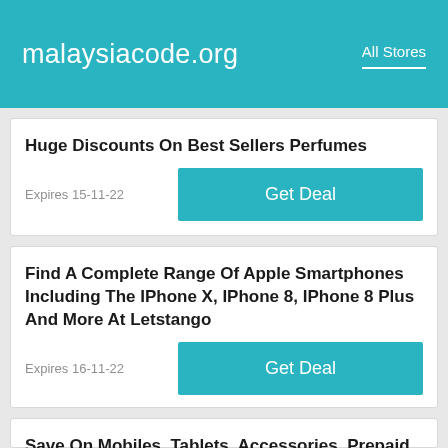malaysiacode.org   All Stores
Huge Discounts On Best Sellers Perfumes
Expires 15-11-22
Find A Complete Range Of Apple Smartphones Including The IPhone X, IPhone 8, IPhone 8 Plus And More At Letstango
Expires 16-11-22
Save On Mobiles, Tablets, Accessories, Prepaid